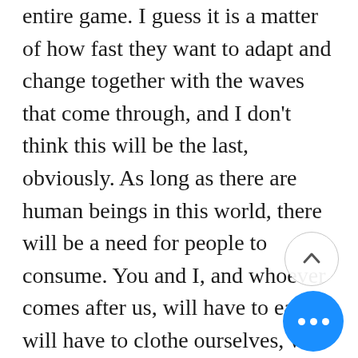technology can come out and change the entire game. I guess it is a matter of how fast they want to adapt and change together with the waves that come through, and I don't think this will be the last, obviously. As long as there are human beings in this world, there will be a need for people to consume. You and I, and whoever comes after us, will have to eat, will have to clothe ourselves, will have to go for entertainment, will have to go for a haircut, will have to go for a facial, will have to go for a massage. These things won't change, because we as human beings need to consume things, because it is part of our lifestyle. Unless lifeform completely comes to a standstill, which looks unlikely, otherwise this idea of trade has been around since the beginning of time. The old merchants ply their trade through the village,